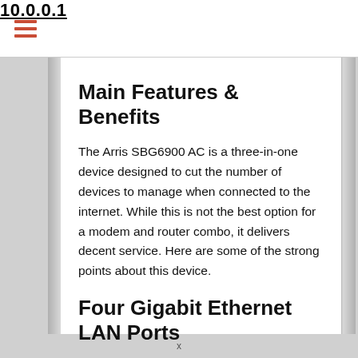10.0.0.1
Main Features & Benefits
The Arris SBG6900 AC is a three-in-one device designed to cut the number of devices to manage when connected to the internet. While this is not the best option for a modem and router combo, it delivers decent service. Here are some of the strong points about this device.
Four Gigabit Ethernet LAN Ports
Besides connecting wireless through this device's access point mode, desktop computers, gaming